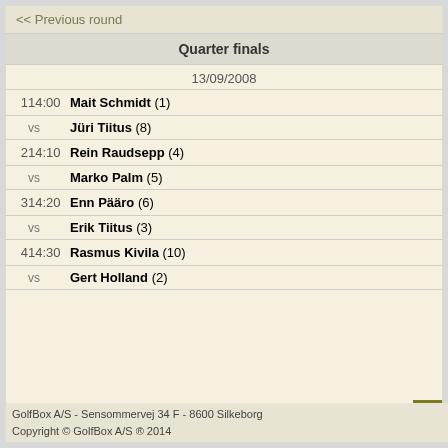<< Previous round
Quarter finals
13/09/2008
1  14:00  Mait Schmidt (1)
vs  Jüri Tiitus (8)
2  14:10  Rein Raudsepp (4)
vs  Marko Palm (5)
3  14:20  Enn Pääro (6)
vs  Erik Tiitus (3)
4  14:30  Rasmus Kivila (10)
vs  Gert Holland (2)
GolfBox A/S  -  Sensommervej 34 F  -  8600 Silkeborg
Copyright © GolfBox A/S ® 2014